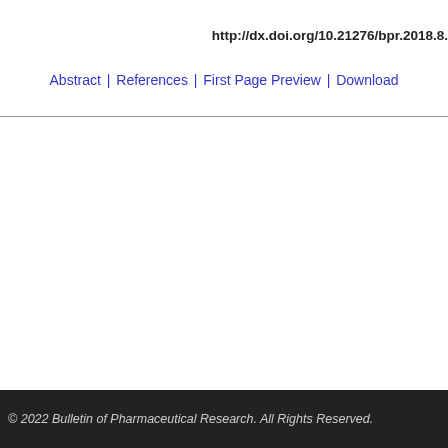http://dx.doi.org/10.21276/bpr.2018.8.
Abstract | References | First Page Preview | Download
© 2022 Bulletin of Pharmaceutical Research. All Rights Reserved.